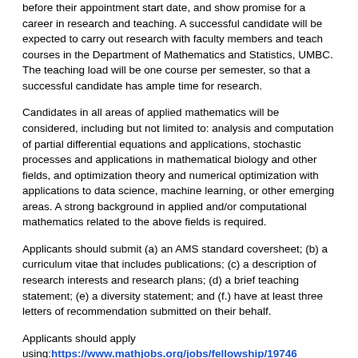before their appointment start date, and show promise for a career in research and teaching. A successful candidate will be expected to carry out research with faculty members and teach courses in the Department of Mathematics and Statistics, UMBC. The teaching load will be one course per semester, so that a successful candidate has ample time for research.
Candidates in all areas of applied mathematics will be considered, including but not limited to: analysis and computation of partial differential equations and applications, stochastic processes and applications in mathematical biology and other fields, and optimization theory and numerical optimization with applications to data science, machine learning, or other emerging areas. A strong background in applied and/or computational mathematics related to the above fields is required.
Applicants should submit (a) an AMS standard coversheet; (b) a curriculum vitae that includes publications; (c) a description of research interests and research plans; (d) a brief teaching statement; (e) a diversity statement; and (f.) have at least three letters of recommendation submitted on their behalf.
Applicants should apply using: https://www.mathjobs.org/jobs/fellowship/19746
Review of applications will begin on April 15th 2022, although applications will continue to be reviewed until the position is filled. Early application is encouraged.
Equal Employment Opportunity Statement: The UMBC is an Equal Opportunity Affirmative Action Employer. UMBC also encourages...